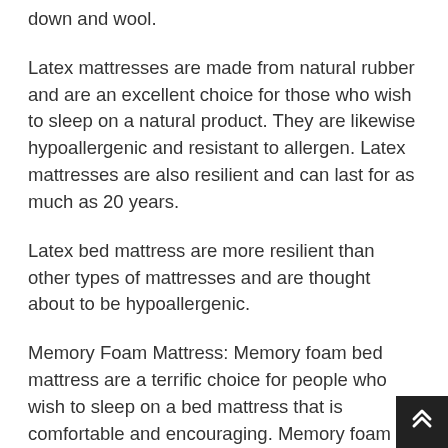down and wool.
Latex mattresses are made from natural rubber and are an excellent choice for those who wish to sleep on a natural product. They are likewise hypoallergenic and resistant to allergen. Latex mattresses are also resilient and can last for as much as 20 years.
Latex bed mattress are more resilient than other types of mattresses and are thought about to be hypoallergenic.
Memory Foam Mattress: Memory foam bed mattress are a terrific choice for people who wish to sleep on a bed mattress that is comfortable and encouraging. Memory foam bed mattress are made from polyurethane foam that is designed to contour to the shape of your body. This product is also created to ease pressure points and supply a cooler